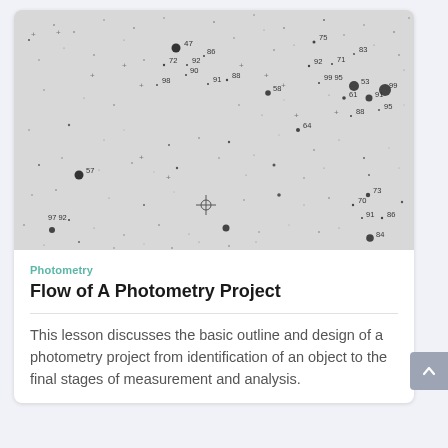[Figure (photo): Star field image showing many stars of varying sizes with numbered labels (e.g. 47, 72, 92, 90, 86, 91, 88, 98, 75, 83, 92, 71, 99, 95, 53, 99, 61, 91, 95, 88, 58, 64, 57, 73, 70, 91, 86, 97, 92, 84) and a crosshair marker near the center-bottom area.]
Photometry
Flow of A Photometry Project
This lesson discusses the basic outline and design of a photometry project from identification of an object to the final stages of measurement and analysis.